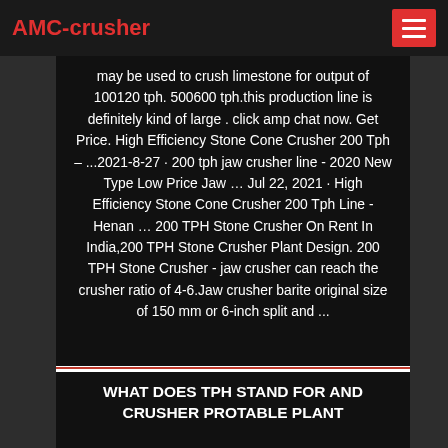AMC-crusher
may be used to crush limestone for output of 100120 tph. 500600 tph.this production line is definitely kind of large . click amp chat now. Get Price. High Efficiency Stone Cone Crusher 200 Tph – ...2021-8-27 · 200 tph jaw crusher line - 2020 New Type Low Price Jaw … Jul 22, 2021 · High Efficiency Stone Cone Crusher 200 Tph Line - Henan … 200 TPH Stone Crusher On Rent In India,200 TPH Stone Crusher Plant Design. 200 TPH Stone Crusher - jaw crusher can reach the crusher ratio of 4-6.Jaw crusher barite original size of 150 mm or 6-inch split and ...
WHAT DOES TPH STAND FOR AND CRUSHER PROTABLE PLANT